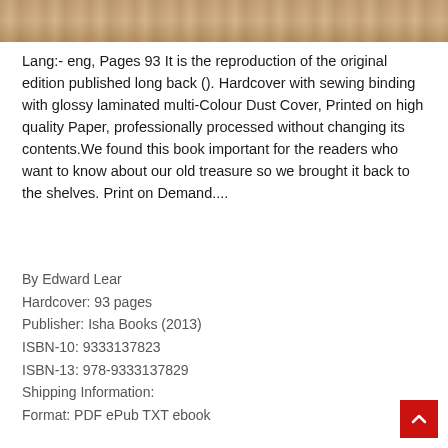[Figure (photo): Partial photo of a book cover, showing wood-textured or tan/brown background at the top of the page]
Lang:- eng, Pages 93 It is the reproduction of the original edition published long back (). Hardcover with sewing binding with glossy laminated multi-Colour Dust Cover, Printed on high quality Paper, professionally processed without changing its contents.We found this book important for the readers who want to know about our old treasure so we brought it back to the shelves. Print on Demand....
By Edward Lear
Hardcover: 93 pages
Publisher: Isha Books (2013)
ISBN-10: 9333137823
ISBN-13: 978-9333137829
Shipping Information:
Format: PDF ePub TXT ebook